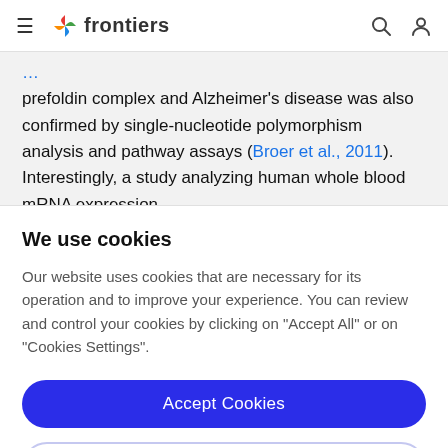frontiers
prefoldin complex and Alzheimer’s disease was also confirmed by single-nucleotide polymorphism analysis and pathway assays (Broer et al., 2011). Interestingly, a study analyzing human whole blood mRNA expression
We use cookies
Our website uses cookies that are necessary for its operation and to improve your experience. You can review and control your cookies by clicking on “Accept All” or on “Cookies Settings”.
Accept Cookies
Cookies Settings